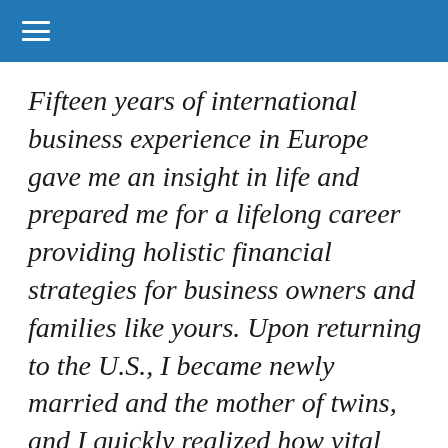Fifteen years of international business experience in Europe gave me an insight in life and prepared me for a lifelong career providing holistic financial strategies for business owners and families like yours. Upon returning to the U.S., I became newly married and the mother of twins, and I quickly realized how vital having financial strategies was for our family. It lit a spark and a passion in me that led me to join New York Life. My experience as a business